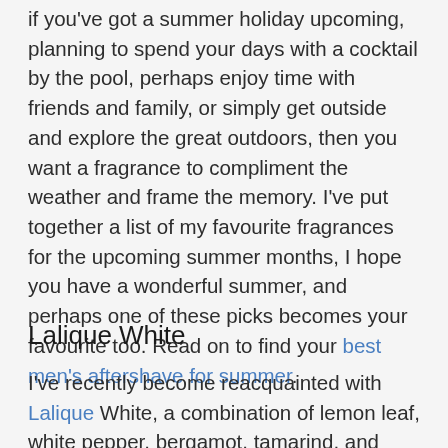if you've got a summer holiday upcoming, planning to spend your days with a cocktail by the pool, perhaps enjoy time with friends and family, or simply get outside and explore the great outdoors, then you want a fragrance to compliment the weather and frame the memory. I've put together a list of my favourite fragrances for the upcoming summer months, I hope you have a wonderful summer, and perhaps one of these picks becomes your favourite too. Read on to find your best men's aftershave for summer.
Lalique White
I've recently become reacquainted with Lalique White, a combination of lemon leaf, white pepper, bergamot, tamarind, and cedar. White